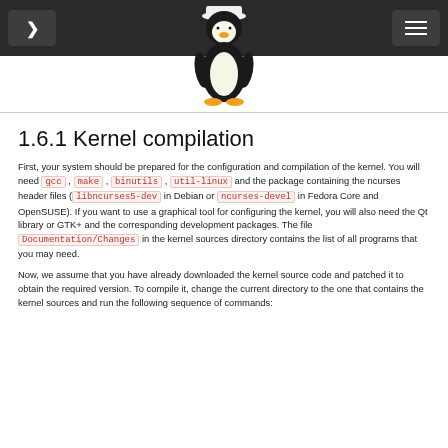Navigation header with Tux penguin logo
1.6.1 Kernel compilation
First, your system should be prepared for the configuration and compilation of the kernel. You will need gcc, make, binutils, util-linux and the package containing the ncurses header files (libncurses5-dev in Debian or ncurses-devel in Fedora Core and OpenSUSE). If you want to use a graphical tool for configuring the kernel, you will also need the Qt library or GTK+ and the corresponding development packages. The file Documentation/Changes in the kernel sources directory contains the list of all programs that you may need.
Now, we assume that you have already downloaded the kernel source code and patched it to obtain the required version. To compile it, change the current directory to the one that contains the kernel sources and run the following sequence of commands: